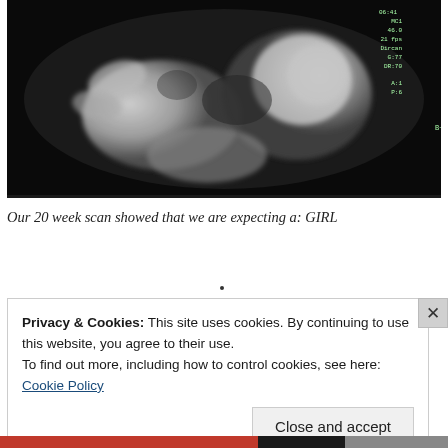[Figure (photo): Ultrasound scan image of a fetus at 20 weeks, black and white sonogram showing fetal body and head with technical parameters visible in top right corner]
Our 20 week scan showed that we are expecting a: GIRL
Privacy & Cookies: This site uses cookies. By continuing to use this website, you agree to their use.
To find out more, including how to control cookies, see here:
Cookie Policy
Close and accept